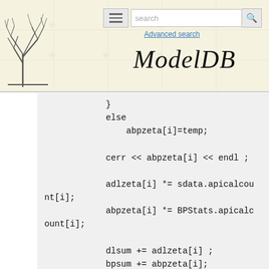ModelDB - search interface with logo and navigation
[Figure (screenshot): Code snippet from ModelDB showing C++ source code with abpzeta, adlzeta, dlsum, bpsum, dlcnt, bpcnt variable operations]
}
else
    abpzeta[i]=temp;

cerr << abpzeta[i] << endl ;

adlzeta[i] *= sdata.apicalcount[i];
abpzeta[i] *= BPStats.apicalcount[i];

dlsum += adlzeta[i] ;
bpsum += abpzeta[i];
dlcnt += sdata.apicalcount[i];
bpcnt += BPStats.apicalcount[i];

//cerr << adlzeta[i] << "  " << sdata.apicalcount[i]